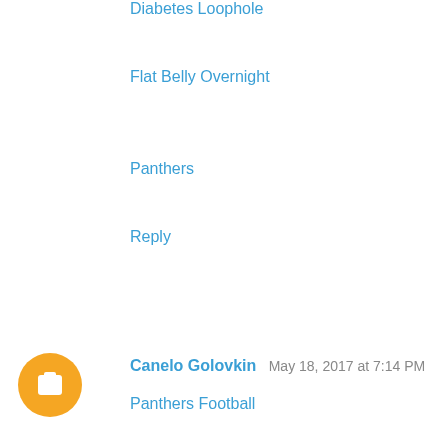Diabetes Loophole
Flat Belly Overnight
Panthers
Reply
Canelo Golovkin   May 18, 2017 at 7:14 PM
Panthers Football
Panthers Schedule
NBA Playoffs
NBA Playoffs Scores
NBA Finals
NBA Finals 2017
Indy 500